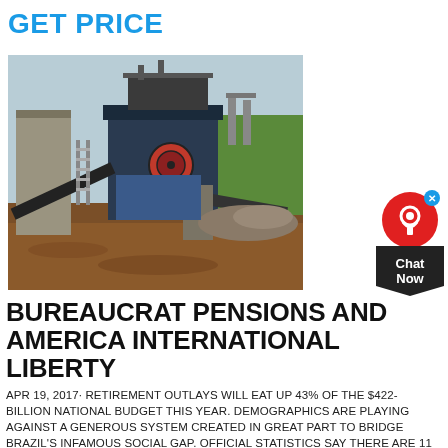GET PRICE
[Figure (photo): Industrial mining/crushing equipment with conveyor belts at an outdoor site with reddish-brown dirt ground and green trees in the background.]
[Figure (other): Chat Now widget — red circle with headset icon, dark chevron-shaped label reading 'Chat Now', with blue X close button.]
BUREAUCRAT PENSIONS AND AMERICA INTERNATIONAL LIBERTY
APR 19, 2017· RETIREMENT OUTLAYS WILL EAT UP 43% OF THE $422-BILLION NATIONAL BUDGET THIS YEAR. DEMOGRAPHICS ARE PLAYING AGAINST A GENEROUS SYSTEM CREATED IN GREAT PART TO BRIDGE BRAZIL'S INFAMOUS SOCIAL GAP. OFFICIAL STATISTICS SAY THERE ARE 11 RETIREES FOR EVERY 100 WORKING-AGE